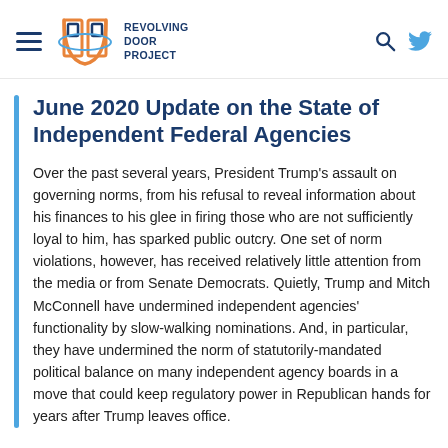Revolving Door Project
June 2020 Update on the State of Independent Federal Agencies
Over the past several years, President Trump's assault on governing norms, from his refusal to reveal information about his finances to his glee in firing those who are not sufficiently loyal to him, has sparked public outcry. One set of norm violations, however, has received relatively little attention from the media or from Senate Democrats. Quietly, Trump and Mitch McConnell have undermined independent agencies' functionality by slow-walking nominations. And, in particular, they have undermined the norm of statutorily-mandated political balance on many independent agency boards in a move that could keep regulatory power in Republican hands for years after Trump leaves office.